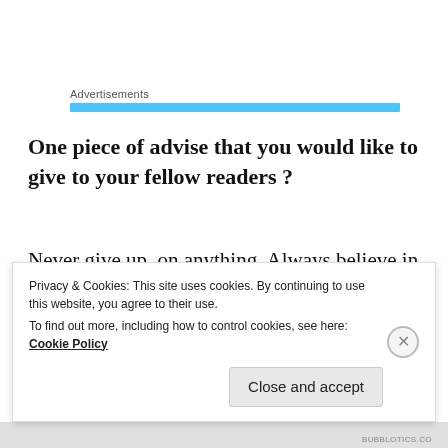Advertisements
One piece of advise that you would like to give to your fellow readers ?
Never give up, on anything. Always believe in yourself 🙂
My Questions
Privacy & Cookies: This site uses cookies. By continuing to use this website, you agree to their use. To find out more, including how to control cookies, see here: Cookie Policy
Close and accept